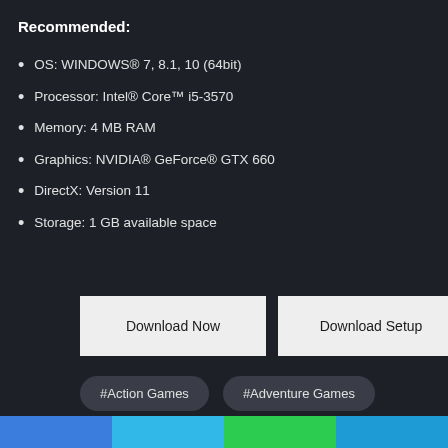Recommended:
OS: WINDOWS® 7, 8.1, 10 (64bit)
Processor: Intel® Core™ i5-3570
Memory: 4 MB RAM
Graphics: NVIDIA® GeForce® GTX 660
DirectX: Version 11
Storage: 1 GB available space
Download Now
Download Setup
#Action Games
#Adventure Games